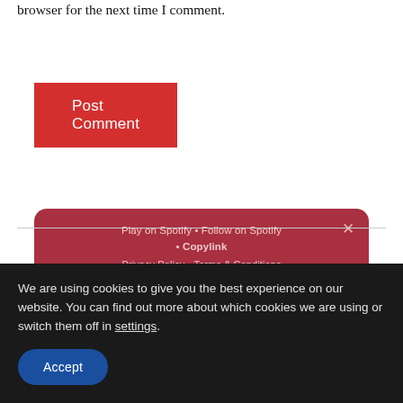browser for the next time I comment.
Post Comment
[Figure (screenshot): Spotify widget popup with dark red rounded background containing links: 'Play on Spotify • Follow on Spotify • Copylink' and 'Privacy Policy • Terms & Conditions', with an X close button in the top right]
We are using cookies to give you the best experience on our website. You can find out more about which cookies we are using or switch them off in settings.
Accept